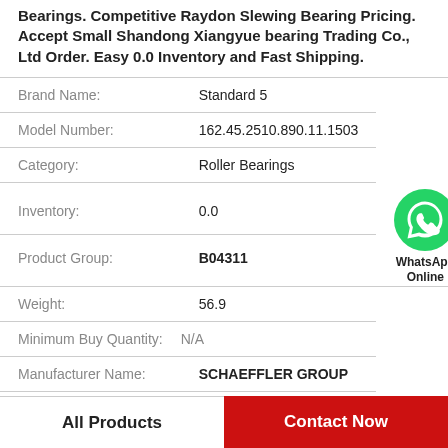Bearings. Competitive Raydon Slewing Bearing Pricing. Accept Small Shandong Xiangyue bearing Trading Co., Ltd Order. Easy 0.0 Inventory and Fast Shipping.
| Brand Name: | Standard 5 |
| Model Number: | 162.45.2510.890.11.1503 |
| Category: | Roller Bearings |
| Inventory: | 0.0 |
| Product Group: | B04311 |
| Weight: | 56.9 |
| Minimum Buy Quantity: | N/A |
| Manufacturer Name: | SCHAEFFLER GROUP |
[Figure (logo): WhatsApp Online green phone icon with text 'WhatsApp Online']
All Products
Contact Now